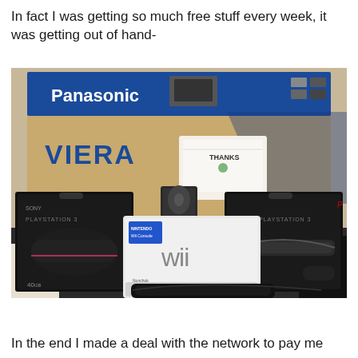In fact I was getting so much free stuff every week, it was getting out of hand-
[Figure (photo): Photo showing free merchandise received: a Panasonic Viera TV box in the background with a 'THANKS' card, two Sony PlayStation 3 boxes on either side, a Nintendo Wii box in the center front, and a PS3 console visible, all sitting on a carpet floor.]
In the end I made a deal with the network to pay me